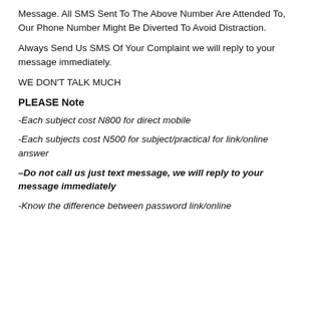Message. All SMS Sent To The Above Number Are Attended To, Our Phone Number Might Be Diverted To Avoid Distraction.
Always Send Us SMS Of Your Complaint we will reply to your message immediately.
WE DON'T TALK MUCH
PLEASE Note
-Each subject cost N800 for direct mobile
-Each subjects cost N500 for subject/practical for link/online answer
–Do not call us just text message, we will reply to your message immediately
-Know the difference between password link/online